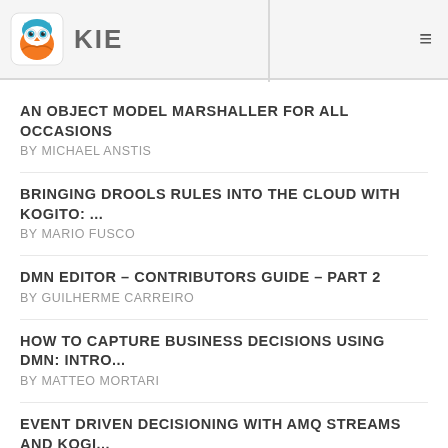KIE
AN OBJECT MODEL MARSHALLER FOR ALL OCCASIONS — BY MICHAEL ANSTIS
BRINGING DROOLS RULES INTO THE CLOUD WITH KOGITO: ... — BY MARIO FUSCO
DMN EDITOR – CONTRIBUTORS GUIDE – PART 2 — BY GUILHERME CARREIRO
HOW TO CAPTURE BUSINESS DECISIONS USING DMN: INTRO... — BY MATTEO MORTARI
EVENT DRIVEN DECISIONING WITH AMQ STREAMS AND KOGI... — BY SADHANA NANDAKUMAR
HOW TO DEVELOP BETTER WEB WIDGETS WITH...